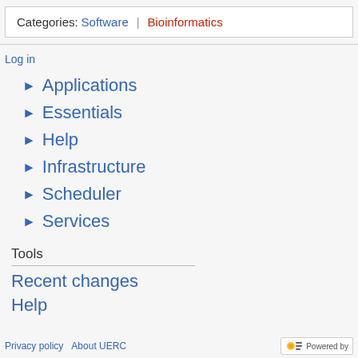Categories:  Software  |  Bioinformatics
Log in
▶ Applications
▶ Essentials
▶ Help
▶ Infrastructure
▶ Scheduler
▶ Services
Tools
Recent changes
Help
Privacy policy   About UERC   Powered by MediaWiki